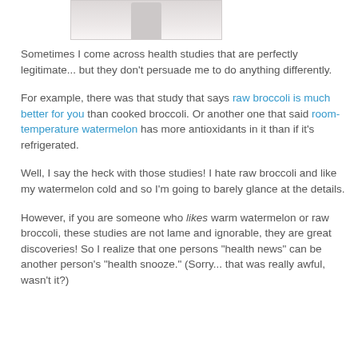[Figure (photo): Partial image of a person in white coat (doctor/medical professional), cropped at top of page]
Sometimes I come across health studies that are perfectly legitimate... but they don't persuade me to do anything differently.
For example, there was that study that says raw broccoli is much better for you than cooked broccoli. Or another one that said room-temperature watermelon has more antioxidants in it than if it's refrigerated.
Well, I say the heck with those studies! I hate raw broccoli and like my watermelon cold and so I'm going to barely glance at the details.
However, if you are someone who likes warm watermelon or raw broccoli, these studies are not lame and ignorable, they are great discoveries! So I realize that one persons "health news" can be another person's "health snooze." (Sorry... that was really awful, wasn't it?)